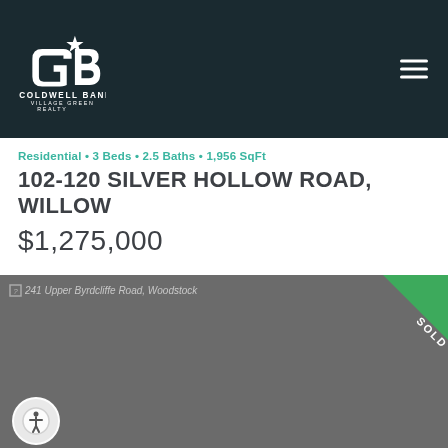[Figure (logo): Coldwell Banker Village Green Realty logo — white CB star logo mark with text COLDWELL BANKER and VILLAGE GREEN REALTY on dark navy background]
Residential • 3 Beds • 2.5 Baths • 1,956 SqFt
102-120 SILVER HOLLOW ROAD, WILLOW
$1,275,000
[Figure (photo): Property listing photo placeholder showing gray background with SOLD ribbon banner in green in top-right corner, and caption text '241 Upper Byrdcliffe Road, Woodstock']